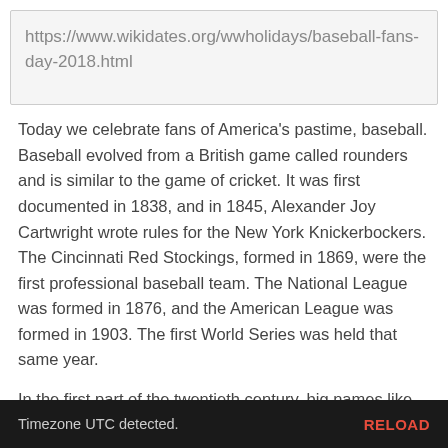https://www.wikidates.org/wwholidays/baseball-fans-day-2018.html
Today we celebrate fans of America's pastime, baseball. Baseball evolved from a British game called rounders and is similar to the game of cricket. It was first documented in 1838, and in 1845, Alexander Joy Cartwright wrote rules for the New York Knickerbockers. The Cincinnati Red Stockings, formed in 1869, were the first professional baseball team. The National League was formed in 1876, and the American League was formed in 1903. The first World Series was held that same year.
In the first part of the twentieth century, big names like Babe Ruth, Lou Gehrig, Joe Dimaggio, and Ty Cobb took the field. African American players had their own major leagues from 1885 until 1951 and had their own stars, such as Satchell Paige. In 1947, Jackie Robinson became the first African American to play in the major
Timezone UTC detected. RELOAD